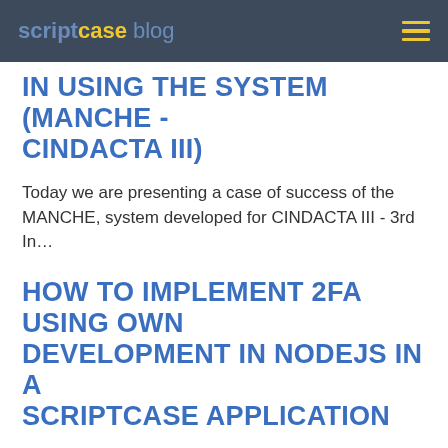scriptcase blog
IN USING THE SYSTEM (MANCHE - CINDACTA III)
Today we are presenting a case of success of the MANCHE, system developed for CINDACTA III - 3rd In...
HOW TO IMPLEMENT 2FA USING OWN DEVELOPMENT IN NODEJS IN A SCRIPTCASE APPLICATION
2FA using Own Development in NodeJS 2FA: In a previous article, we talked about Swivel as an ext...
SPECIALIST OR GENERALIST, WHO GETS A BETTER ADVANTAGE BY USING SCRIPTCASE?